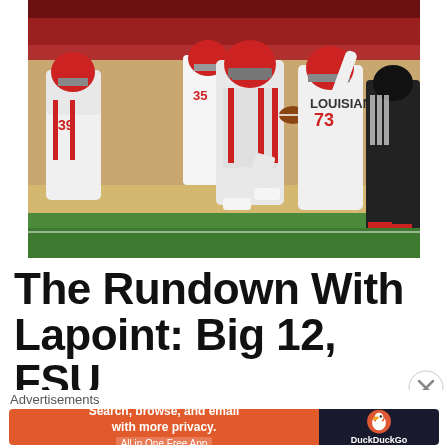[Figure (photo): College football players in white Louisiana uniforms running on the field during a game. A ball carrier in the center is in mid-stride, teammates celebrate around him including #73 and #35, and a sideline official in black is visible on the right.]
The Rundown With Lapoint: Big 12, FSU
[Figure (infographic): DuckDuckGo advertisement banner. Orange left side reads 'Search, browse, and email with more privacy. All in One Free App'. Dark right side shows DuckDuckGo duck logo and brand name.]